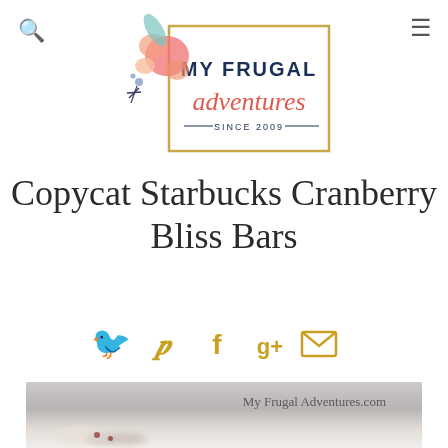[Figure (logo): My Frugal Adventures logo with floral decoration and gold border, 'SINCE 2009' text]
Copycat Starbucks Cranberry Bliss Bars
[Figure (infographic): Row of social media share icons: Twitter, Pinterest, Facebook, Google+, Email — all in golden/yellow color]
[Figure (photo): Partial photo of Cranberry Bliss Bars with watermark 'My Frugal Adventures.com', blurred/out of focus pastry items visible]